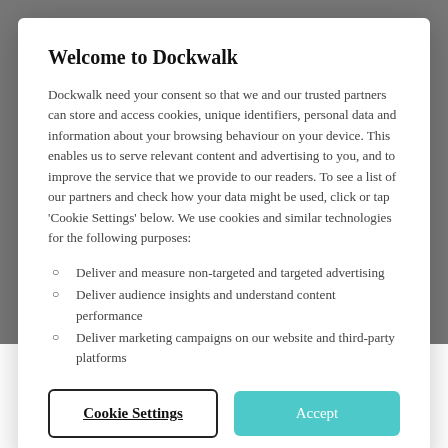Welcome to Dockwalk
Dockwalk need your consent so that we and our trusted partners can store and access cookies, unique identifiers, personal data and information about your browsing behaviour on your device. This enables us to serve relevant content and advertising to you, and to improve the service that we provide to our readers. To see a list of our partners and check how your data might be used, click or tap ‘Cookie Settings’ below. We use cookies and similar technologies for the following purposes:
Deliver and measure non-targeted and targeted advertising
Deliver audience insights and understand content performance
Deliver marketing campaigns on our website and third-party platforms
Cookie Settings    Accept
no impact as the ACA only apples to those who fly a U.S. flag and employ more than fifty crew,” says Mark